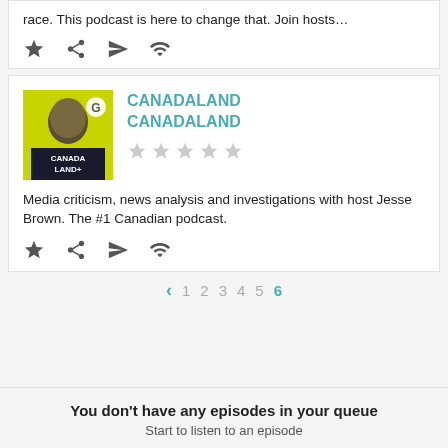race. This podcast is here to change that. Join hosts…
[Figure (screenshot): Icon row with star, share, send, and wifi icons]
[Figure (screenshot): Canadaland podcast thumbnail - yellow/green image of a face with CANADALAND text]
CANADALAND CANADALAND
[Figure (other): 5 empty star rating icons]
Media criticism, news analysis and investigations with host Jesse Brown. The #1 Canadian podcast.
[Figure (screenshot): Icon row with star, share, send, and wifi icons]
< 1 2 3 4 5 6
You don't have any episodes in your queue
Start to listen to an episode